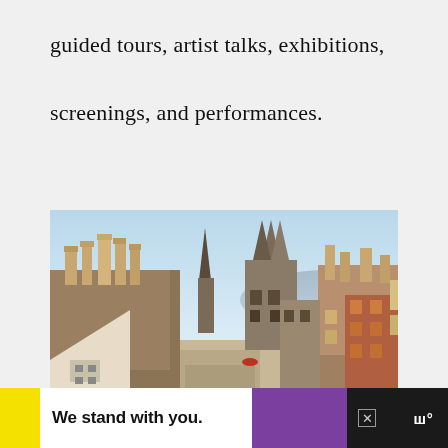guided tours, artist talks, exhibitions, screenings, and performances.
[Figure (photo): Aerial view of Edinburgh's Royal Mile with historic stone buildings, church spires including the Hub and St Giles' Cathedral, crowded street scene, clear sky with purple hills in background.]
We stand with you.